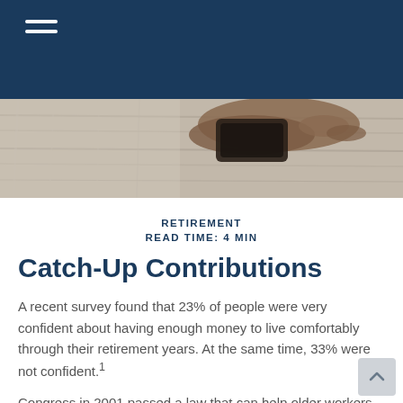≡ (navigation menu icon)
[Figure (photo): Close-up photo of a hand holding a dark wallet or small object on a weathered wooden surface]
RETIREMENT
READ TIME: 4 MIN
Catch-Up Contributions
A recent survey found that 23% of people were very confident about having enough money to live comfortably through their retirement years. At the same time, 33% were not confident.¹
Congress in 2001 passed a law that can help older workers